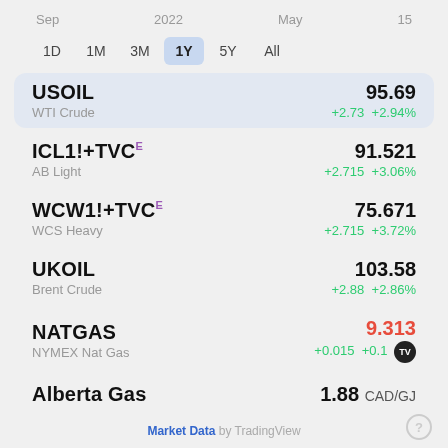Sep  2022  May  15
1D  1M  3M  1Y  5Y  All
| Instrument | Sub | Price | Change |
| --- | --- | --- | --- |
| USOIL | WTI Crude | 95.69 | +2.73  +2.94% |
| ICL1!+TVCE | AB Light | 91.521 | +2.715  +3.06% |
| WCW1!+TVCE | WCS Heavy | 75.671 | +2.715  +3.72% |
| UKOIL | Brent Crude | 103.58 | +2.88  +2.86% |
| NATGAS | NYMEX Nat Gas | 9.313 | +0.015  +0.1 |
| Alberta Gas |  | 1.88 CAD/GJ |  |
Market Data by TradingView